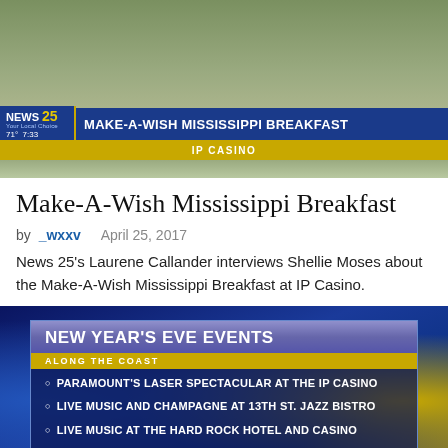[Figure (screenshot): News 25 TV broadcast screenshot showing 'MAKE-A-WISH MISSISSIPPI BREAKFAST' chyron at IP Casino, with outdoor background scene and blue/gold news ticker bar.]
Make-A-Wish Mississippi Breakfast
by _wxxv   April 25, 2017
News 25's Laurene Callander interviews Shellie Moses about the Make-A-Wish Mississippi Breakfast at IP Casino.
[Figure (screenshot): News 25 TV broadcast screenshot showing 'NEW YEAR'S EVE EVENTS ALONG THE COAST' graphic with four bullet points listing events.]